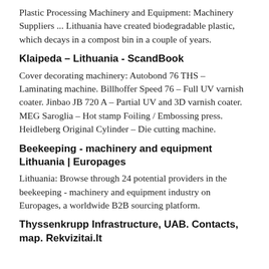Plastic Processing Machinery and Equipment: Machinery Suppliers ... Lithuania have created biodegradable plastic, which decays in a compost bin in a couple of years.
Klaipeda – Lithuania - ScandBook
Cover decorating machinery: Autobond 76 THS – Laminating machine. Billhoffer Speed 76 – Full UV varnish coater. Jinbao JB 720 A – Partial UV and 3D varnish coater. MEG Saroglia – Hot stamp Foiling / Embossing press. Heidleberg Original Cylinder – Die cutting machine.
Beekeeping - machinery and equipment Lithuania | Europages
Lithuania: Browse through 24 potential providers in the beekeeping - machinery and equipment industry on Europages, a worldwide B2B sourcing platform.
Thyssenkrupp Infrastructure, UAB. Contacts, map. Rekvizitai.lt